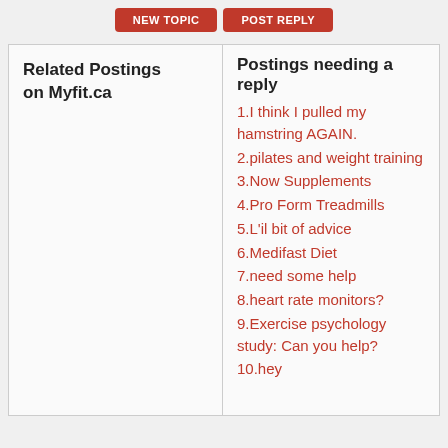[Figure (screenshot): Two red buttons at top: NEW TOPIC and POST REPLY]
| Related Postings on Myfit.ca | Postings needing a reply |
| --- | --- |
|  | 1.I think I pulled my hamstring AGAIN. |
|  | 2.pilates and weight training |
|  | 3.Now Supplements |
|  | 4.Pro Form Treadmills |
|  | 5.L'il bit of advice |
|  | 6.Medifast Diet |
|  | 7.need some help |
|  | 8.heart rate monitors? |
|  | 9.Exercise psychology study: Can you help? |
|  | 10.hey |